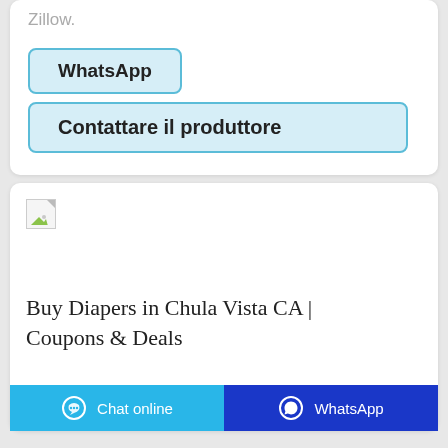Zillow.
WhatsApp
Contattare il produttore
[Figure (photo): Broken image placeholder thumbnail]
Buy Diapers in Chula Vista CA | Coupons & Deals
Chat online   WhatsApp